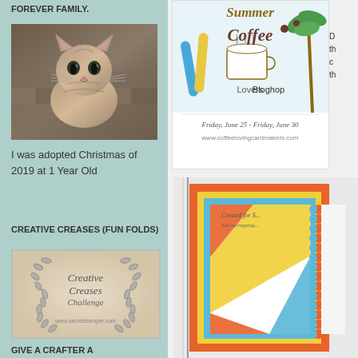FOREVER FAMILY.
[Figure (photo): A tabby cat sitting and looking at the camera]
I was adopted Christmas of 2019 at 1 Year Old
CREATIVE CREASES (FUN FOLDS)
[Figure (logo): Creative Creases Challenge badge with wreath and text: Creative Creases Challenge, www.secretstamper.com]
GIVE A CRAFTER A
[Figure (illustration): Summer Coffee Lovers Bloghop banner with surfboards and coffee cup. Friday, June 25 - Friday, June 30, www.coffeelovingcardmakers.com]
[Figure (photo): Handmade card with orange, yellow, and blue diagonal stripe design with scalloped edges]